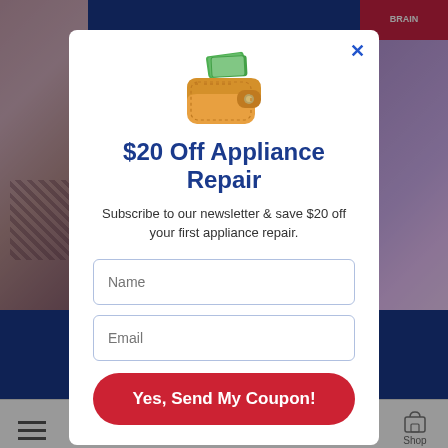[Figure (screenshot): Mobile website screenshot showing background page with image on left, pink/purple product image on right, navigation text, and bottom navigation bar]
[Figure (screenshot): Modal popup overlay with wallet emoji icon, '$20 Off Appliance Repair' heading, newsletter subscription text, Name and Email input fields, and a red CTA button 'Yes, Send My Coupon!']
$20 Off Appliance Repair
Subscribe to our newsletter & save $20 off your first appliance repair.
Name
Email
Yes, Send My Coupon!